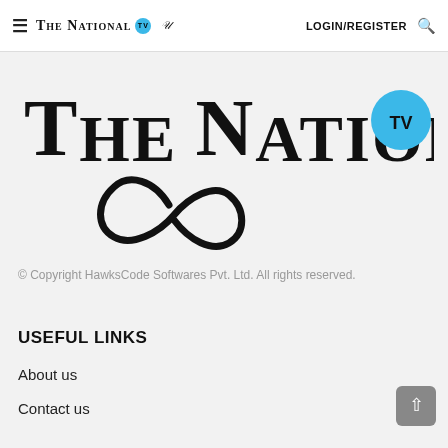≡ THE NATIONAL TV  LOGIN/REGISTER 🔍
[Figure (logo): The National TV logo — large serif text 'THE NATIONAL' with a TV badge in cyan and a decorative infinity/flourish beneath]
© Copyright HawksCode Softwares Pvt. Ltd. All rights reserved.
USEFUL LINKS
About us
Contact us